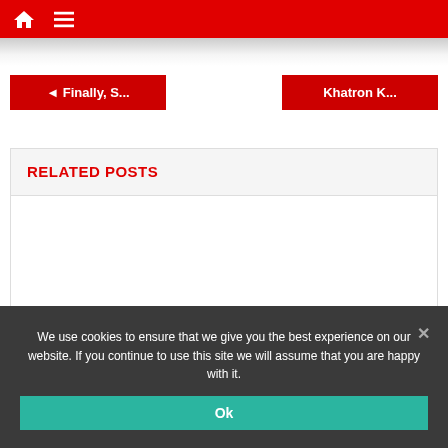Navigation bar with home icon and menu icon
◄ Finally, S...
Khatron K...
RELATED POSTS
We use cookies to ensure that we give you the best experience on our website. If you continue to use this site we will assume that you are happy with it.
Ok